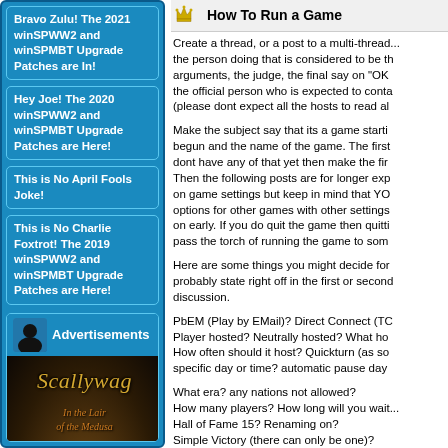Bravo Zulu! The 2021 winSPWW2 and winSPMBT Upgrade Patches are In!
Hey Joe! The 2020 winSPWW2 and winSPMBT Upgrade Patches are Here!
This is No April Fools Joke!
This is No Charlie Foxtrot! The 2019 winSPWW2 and winSPMBT Upgrade Patches are Here!
[Figure (illustration): Advertisement section with avatar icon and Scallywag: In the Lair of the Medusa game advertisement image]
How To Run a Game
Create a thread, or a post to a multi-thread... the person doing that is considered to be the arguments, the judge, the final say on "OK the official person who is expected to conta (please dont expect all the hosts to read al
Make the subject say that its a game starti begun and the name of the game. The first dont have any of that yet then make the fir Then the following posts are for longer exp on game settings but keep in mind that YO options for other games with other settings on early. If you do quit the game then quitti pass the torch of running the game to som
Here are some things you might decide for probably state right off in the first or second discussion.
PbEM (Play by EMail)? Direct Connect (TC Player hosted? Neutrally hosted? What ho How often should it host? Quickturn (as so specific day or time? automatic pause day
What era? any nations not allowed?
How many players? How long will you wait...
Hall of Fame 15? Renaming on?
Simple Victory (there can only be one)?